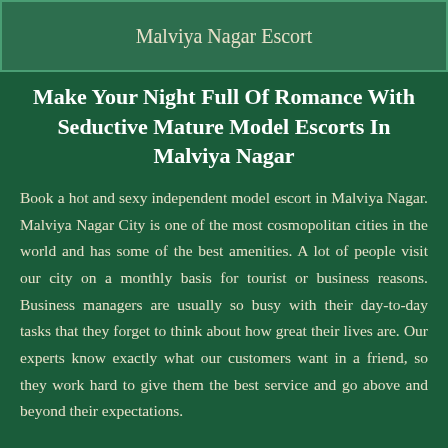Malviya Nagar Escort
Make Your Night Full Of Romance With Seductive Mature Model Escorts In Malviya Nagar
Book a hot and sexy independent model escort in Malviya Nagar. Malviya Nagar City is one of the most cosmopolitan cities in the world and has some of the best amenities. A lot of people visit our city on a monthly basis for tourist or business reasons. Business managers are usually so busy with their day-to-day tasks that they forget to think about how great their lives are. Our experts know exactly what our customers want in a friend, so they work hard to give them the best service and go above and beyond their expectations.